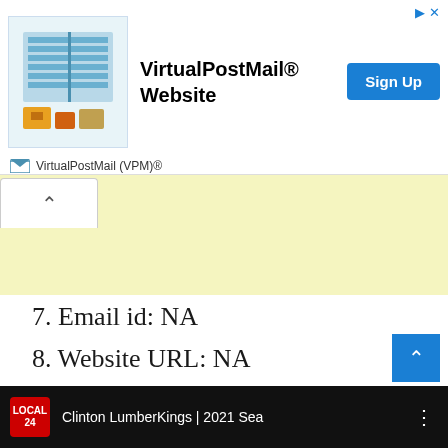[Figure (other): VirtualPostMail advertisement banner with illustration of mailboxes and packages, bold text 'VirtualPostMail® Website', a blue Sign Up button, and VirtualPostMail (VPM)® logo row]
7. Email id: NA
8. Website URL: NA
Read Also: How to Contact Dayton Dragon: Phone Number, Fanmail Address, Email Address, Whatsapp, House Address
[Figure (screenshot): Clinton LumberKings 2021 Season video thumbnail on dark background with Local 24 logo]